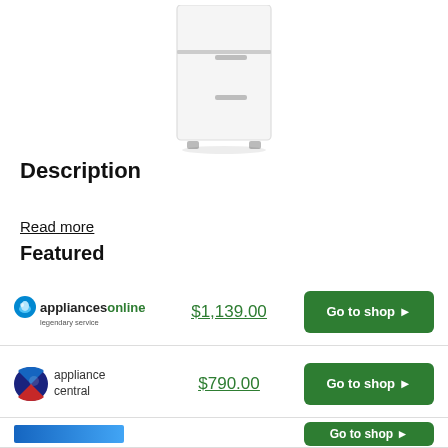[Figure (photo): White top-mount refrigerator product photo, cropped at top, showing the lower half of the appliance on white background]
Description
Read more
Featured
| Shop | Price | Action |
| --- | --- | --- |
| appliancesonline legendary service | $1,139.00 | Go to shop ▶ |
| appliance central | $790.00 | Go to shop ▶ |